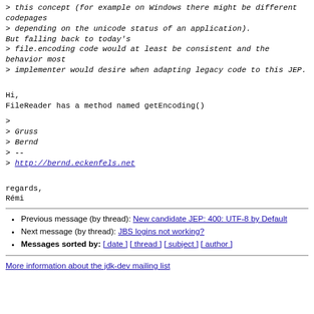> this concept (for example on Windows there might be different codepages
> depending on the unicode status of an application).
But falling back to today's
> file.encoding code would at least be consistent and the behavior most
> implementer would desire when adapting legacy code to this JEP.
Hi,
FileReader has a method named getEncoding()
>
> Gruss
> Bernd
> --
> http://bernd.eckenfels.net
regards,
Rémi
Previous message (by thread): New candidate JEP: 400: UTF-8 by Default
Next message (by thread): JBS logins not working?
Messages sorted by: [ date ] [ thread ] [ subject ] [ author ]
More information about the jdk-dev mailing list